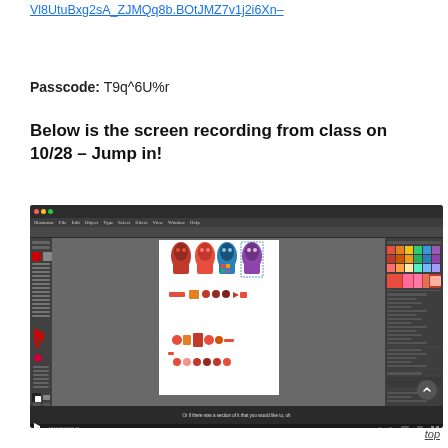Vl8UtuBxg2sA_ZJMQq8b.BOtJMZ7v1j2i6Xn-
Passcode: T9q^6U%r
Below is the screen recording from class on 10/28 – Jump in!
[Figure (screenshot): Screenshot of Adobe Illustrator showing colorful robot/character illustrations on a white canvas, with toolbar panels on left and right sides, and a video playback bar at the bottom with caption 'Or if there was a section of it that you would like to, uh']
top